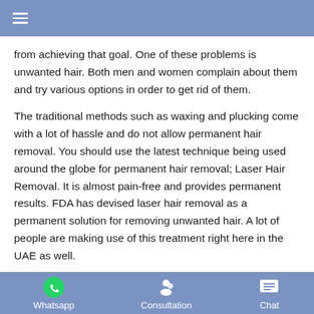≡
from achieving that goal. One of these problems is unwanted hair. Both men and women complain about them and try various options in order to get rid of them.
The traditional methods such as waxing and plucking come with a lot of hassle and do not allow permanent hair removal. You should use the latest technique being used around the globe for permanent hair removal; Laser Hair Removal. It is almost pain-free and provides permanent results. FDA has devised laser hair removal as a permanent solution for removing unwanted hair. A lot of people are making use of this treatment right here in the UAE as well.
Whatsapp   Consultation   Chat